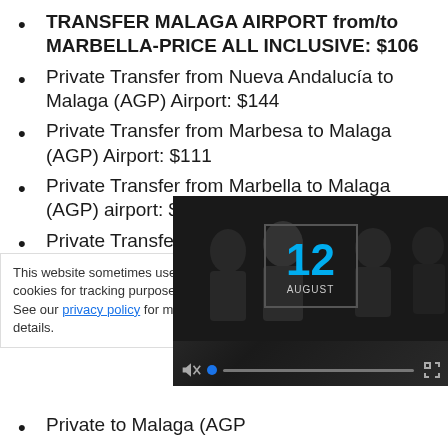TRANSFER MALAGA AIRPORT from/to MARBELLA-PRICE ALL INCLUSIVE: $106
Private Transfer from Nueva Andalucía to Malaga (AGP) Airport: $144
Private Transfer from Marbesa to Malaga (AGP) Airport: $111
Private Transfer from Marbella to Malaga (AGP) airport: $151
Private Transfer from Los Monteros to Malaga (AGP) Airport: $122
Private Transfer from [partially visible] to Malaga (AGP)...
This website sometimes uses cookies for tracking purposes. See our privacy policy for more details.
[Figure (screenshot): Video player overlay showing 'THIS DAY IN HISTORY' with date 12 AUGUST, play button, mute icon, progress bar, and fullscreen icon]